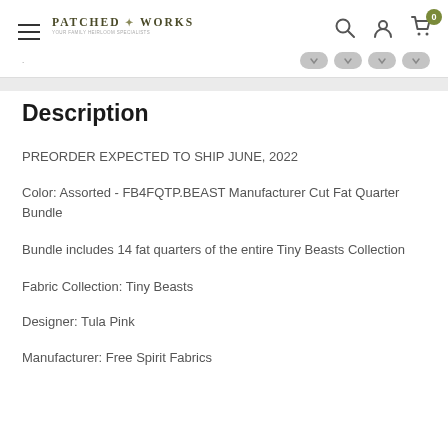Patched Works
Description
PREORDER EXPECTED TO SHIP JUNE, 2022
Color: Assorted - FB4FQTP.BEAST Manufacturer Cut Fat Quarter Bundle
Bundle includes 14 fat quarters of the entire Tiny Beasts Collection
Fabric Collection: Tiny Beasts
Designer: Tula Pink
Manufacturer: Free Spirit Fabrics